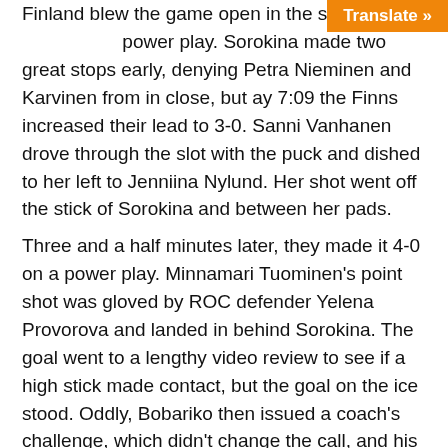Finland blew the game open in the second period on a power play. Sorokina made two great stops early, denying Petra Nieminen and Karvinen from in close, but ay 7:09 the Finns increased their lead to 3-0. Sanni Vanhanen drove through the slot with the puck and dished to her left to Jenniina Nylund. Her shot went off the stick of Sorokina and between her pads.
Three and a half minutes later, they made it 4-0 on a power play. Minnamari Tuominen's point shot was gloved by ROC defender Yelena Provorova and landed in behind Sorokina. The goal went to a lengthy video review to see if a high stick made contact, but the goal on the ice stood. Oddly, Bobariko then issued a coach's challenge, which didn't change the call, and his team was short-handed once again. While this was going on, he also changed goalies, pulling Sorokina in favour of Valeria Merkusheva, who was seeing her first action in Beijing.